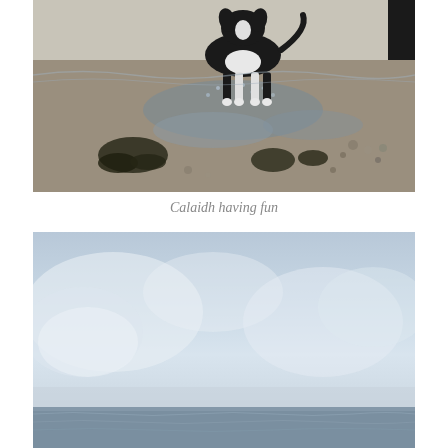[Figure (photo): A dog (black and white, likely a border collie) running and splashing through shallow water on a sandy beach. Seaweed and pebbles are visible on the wet sand.]
Calaidh having fun
[Figure (photo): A calm seascape with a pale blue-grey sky filled with soft clouds and the sea in the lower portion of the image, taken on a misty or hazy day.]